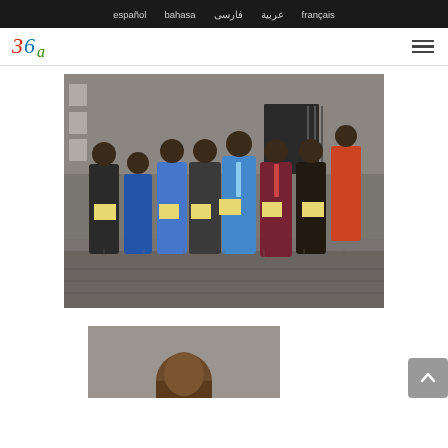español  bahasa  فارسی  عربية  français
[Figure (logo): Stylized logo with '3', '6', 'a' characters in red, blue, and green]
[Figure (photo): Group of men standing outdoors holding certificates/diplomas, posed in front of a building]
[Figure (photo): Partial view of a person's face/head, bottom of page]